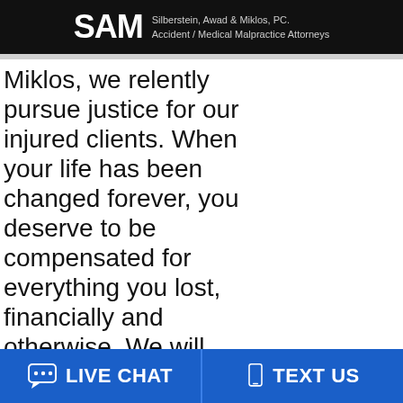SAM Silberstein, Awad & Miklos, PC. Accident / Medical Malpractice Attorneys
Miklos, we relently pursue justice for our injured clients. When your life has been changed forever, you deserve to be compensated for everything you lost, financially and otherwise. We will advocate for you during negotiations and at trial, so when another party's negligence has impacted you and your loved ones, contact us.
LIVE CHAT   TEXT US